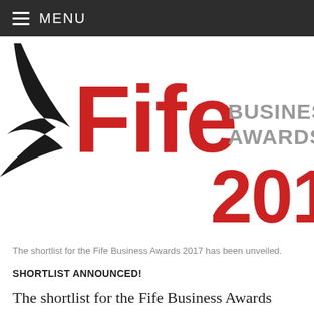MENU
[Figure (logo): Fife Business Awards 2017 logo with red 'Fife' text, grey 'BUSINESS AWARDS' and red '2017', with black swoosh graphic on the left]
The shortlist for the Fife Business Awards 2017 has been unveiled.
SHORTLIST ANNOUNCED!
The shortlist for the Fife Business Awards 2017 has been unveiled, with 33 companies making the cut across 11 categories.
The nominees showcase the best of business in